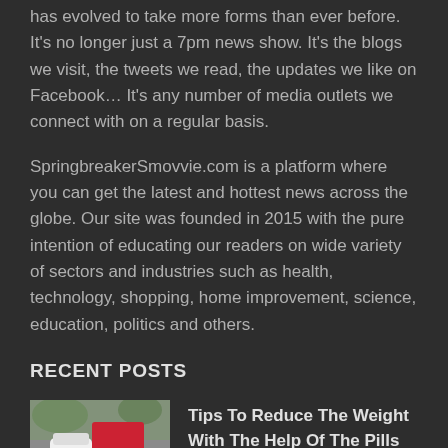has evolved to take more forms than ever before. It's no longer just a 7pm news show. It's the blogs we visit, the tweets we read, the updates we like on Facebook… It's any number of media outlets we connect with on a regular basis.
SpringbreakerSmovvie.com is a platform where you can get the latest and hottest news across the globe. Our site was founded in 2015 with the pure intention of educating our readers on wide variety of sectors and industries such as health, technology, shopping, home improvement, science, education, politics and others.
RECENT POSTS
[Figure (photo): Product image showing LeanBean supplement bottles — white pill bottle and red box with heart logo]
Tips To Reduce The Weight With The Help Of The Pills